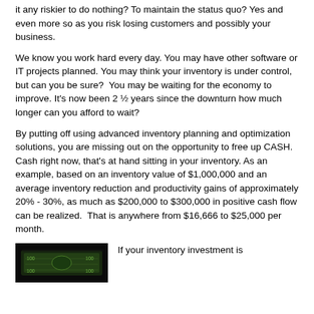it any riskier to do nothing? To maintain the status quo? Yes and even more so as you risk losing customers and possibly your business.
We know you work hard every day. You may have other software or IT projects planned. You may think your inventory is under control, but can you be sure?  You may be waiting for the economy to improve. It's now been 2 ½ years since the downturn how much longer can you afford to wait?
By putting off using advanced inventory planning and optimization solutions, you are missing out on the opportunity to free up CASH. Cash right now, that's at hand sitting in your inventory. As an example, based on an inventory value of $1,000,000 and an average inventory reduction and productivity gains of approximately 20% - 30%, as much as $200,000 to $300,000 in positive cash flow can be realized.  That is anywhere from $16,666 to $25,000 per month.
[Figure (photo): Image of cash/money bills on dark background]
If your inventory investment is